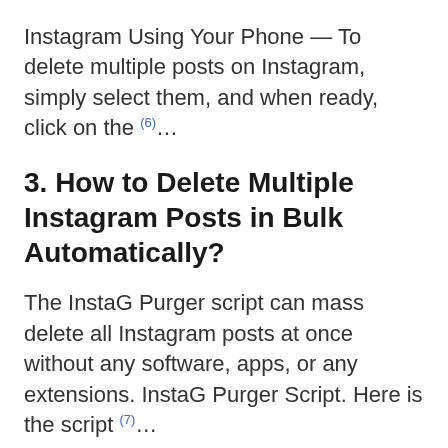Instagram Using Your Phone — To delete multiple posts on Instagram, simply select them, and when ready, click on the (6)...
3. How to Delete Multiple Instagram Posts in Bulk Automatically?
The InstaG Purger script can mass delete all Instagram posts at once without any software, apps, or any extensions. InstaG Purger Script. Here is the script (7)...